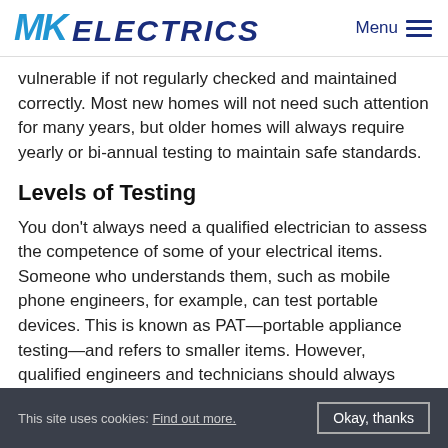MK ELECTRICS | Menu
vulnerable if not regularly checked and maintained correctly.  Most new homes will not need such attention for many years, but older homes will always require yearly or bi-annual testing to maintain safe standards.
Levels of Testing
You don't always need a qualified electrician to assess the competence of some of your electrical items. Someone who understands them, such as mobile phone engineers, for example, can test portable devices.  This is known as PAT—portable appliance testing—and refers to smaller items. However, qualified engineers and technicians should always service home devices like dishwashers, cookers, and washing machines.
This site uses cookies: Find out more.   Okay, thanks